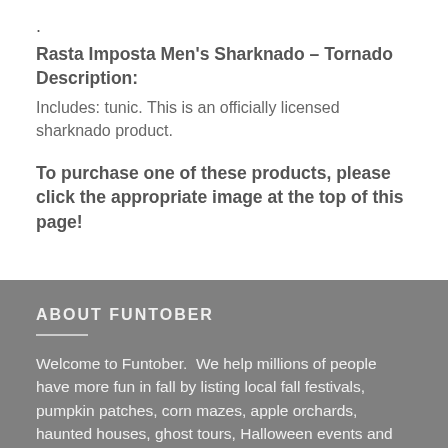.
Rasta Imposta Men's Sharknado – Tornado Description:
Includes: tunic. This is an officially licensed sharknado product.
To purchase one of these products, please click the appropriate image at the top of this page!
ABOUT FUNTOBER
Welcome to Funtober.  We help millions of people have more fun in fall by listing local fall festivals, pumpkin patches, corn mazes, apple orchards, haunted houses, ghost tours, Halloween events and Black Friday deals. We